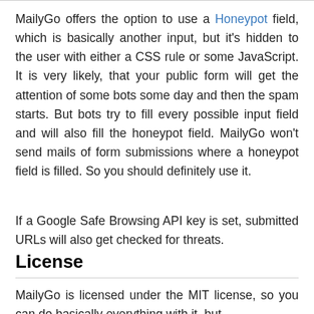MailyGo offers the option to use a Honeypot field, which is basically another input, but it's hidden to the user with either a CSS rule or some JavaScript. It is very likely, that your public form will get the attention of some bots some day and then the spam starts. But bots try to fill every possible input field and will also fill the honeypot field. MailyGo won't send mails of form submissions where a honeypot field is filled. So you should definitely use it.
If a Google Safe Browsing API key is set, submitted URLs will also get checked for threats.
License
MailyGo is licensed under the MIT license, so you can do basically everything with it, but